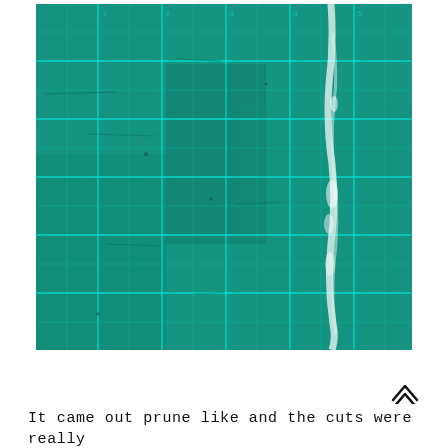[Figure (photo): Close-up photo of a green self-healing cutting mat with grid lines in teal/cyan color. The mat shows signs of use with cut marks, scratches, and a prominent white/pale streak running vertically on the right side of the mat.]
It came out prune like and the cuts were really